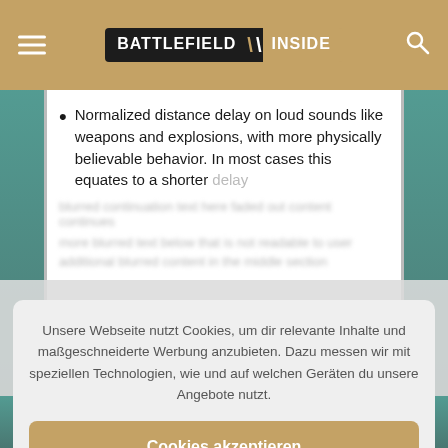BATTLEFIELD \ INSIDE
Normalized distance delay on loud sounds like weapons and explosions, with more physically believable behavior. In most cases this equates to a shorter delay.
Unsere Webseite nutzt Cookies, um dir relevante Inhalte und maßgeschneiderte Werbung anzubieten. Dazu messen wir mit speziellen Technologien, wie und auf welchen Geräten du unsere Angebote nutzt.
Cookies akzeptieren
Einstellungen
corrupted or distorted, due to